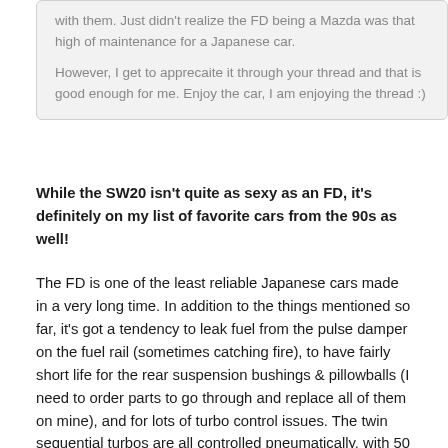with them.  Just didn't realize the FD being a Mazda was that high of maintenance for a Japanese car.

However, I get to apprecaite it through your thread and that is good enough for me. Enjoy the car, I am enjoying the thread :)
While the SW20 isn't quite as sexy as an FD, it's definitely on my list of favorite cars from the 90s as well!
The FD is one of the least reliable Japanese cars made in a very long time.  In addition to the things mentioned so far, it's got a tendency to leak fuel from the pulse damper on the fuel rail (sometimes catching fire), to have fairly short life for the rear suspension bushings & pillowballs (I need to order parts to go through and replace all of them on mine), and for lots of turbo control issues.  The twin sequential turbos are all controlled pneumatically, with 50 or so vacuum lines connection solenoids, actuators, vacuum reservoirs, etc.